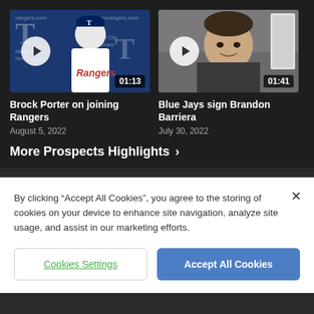[Figure (screenshot): Video thumbnail for Brock Porter on joining Rangers, showing player in Rangers jersey at press conference, duration 01:13]
Brock Porter on joining Rangers
August 5, 2022
[Figure (screenshot): Video thumbnail showing a man in a video call, duration 01:41]
Blue Jays sign Brandon Barriera
July 30, 2022
More Prospects Highlights >
By clicking "Accept All Cookies", you agree to the storing of cookies on your device to enhance site navigation, analyze site usage, and assist in our marketing efforts.
Cookies Settings
Accept All Cookies